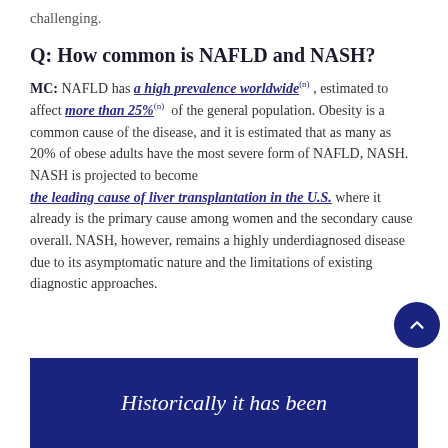challenging.
Q: How common is NAFLD and NASH?
MC: NAFLD has a high prevalence worldwide, estimated to affect more than 25% of the general population. Obesity is a common cause of the disease, and it is estimated that as many as 20% of obese adults have the most severe form of NAFLD, NASH. NASH is projected to become the leading cause of liver transplantation in the U.S., where it already is the primary cause among women and the secondary cause overall. NASH, however, remains a highly underdiagnosed disease due to its asymptomatic nature and the limitations of existing diagnostic approaches.
[Figure (other): Dark blue banner box at bottom of page with italic white text reading 'Historically it has been']